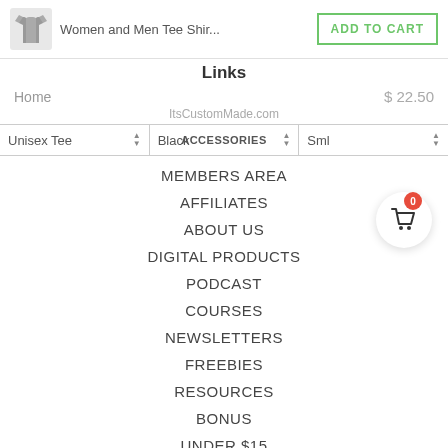[Figure (screenshot): E-commerce product page screenshot showing a t-shirt product listing with navigation links dropdown menu overlay]
Women and Men Tee Shir...
ADD TO CART
Links
Home
$ 22.50
ItsCustomMade.com
Unisex Tee
Black
ACCESSORIES
Sml
MEMBERS AREA
AFFILIATES
ABOUT US
DIGITAL PRODUCTS
PODCAST
COURSES
NEWSLETTERS
FREEBIES
RESOURCES
BONUS
UNDER $15